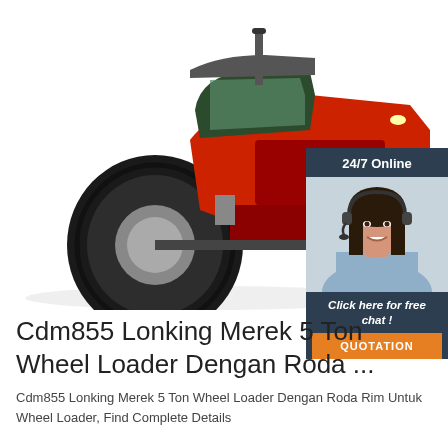[Figure (photo): Red agricultural tractor/wheel loader on white background, large black tires, red body with cab]
[Figure (infographic): 24/7 Online chat widget with dark blue background, photo of smiling woman with headset, 'Click here for free chat!' text, and orange QUOTATION button]
Cdm855 Lonking Merek 5 Ton Wheel Loader Dengan Roda ...
Cdm855 Lonking Merek 5 Ton Wheel Loader Dengan Roda Rim Untuk Wheel Loader, Find Complete Details